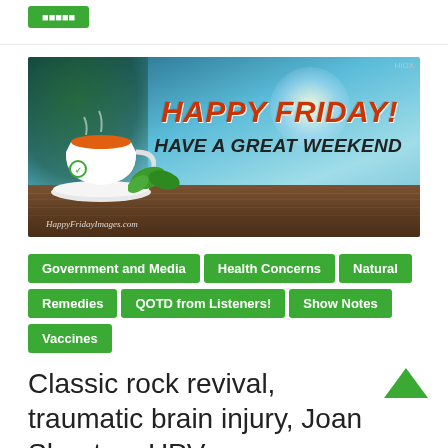[Figure (illustration): Top area with a green button partially visible]
[Figure (photo): Happy Friday advertisement banner: a warm cup of tea on a wooden table with tropical background, text reads HAPPY FRIDAY! HAVE A GREAT WEEKEND, watermark HappyFridayImages.com]
Government and Media
Health Concerns
Natural Remedies
QOTD from Listeners!
Show Notes
Vaccines
Classic rock revival, traumatic brain injury, Joan Shenton, HPV documentary, JFK files nothing